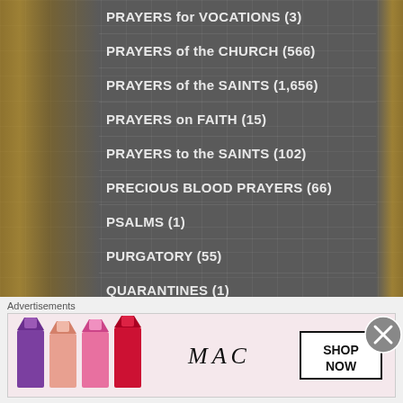PRAYERS for VOCATIONS (3)
PRAYERS of the CHURCH (566)
PRAYERS of the SAINTS (1,656)
PRAYERS on FAITH (15)
PRAYERS to the SAINTS (102)
PRECIOUS BLOOD PRAYERS (66)
PSALMS (1)
PURGATORY (55)
QUARANTINES (1)
QUEENSHIP of MARY (36)
QUOTES "CARPE DIEM" – Seize the Day (7)
Advertisements
[Figure (photo): MAC cosmetics advertisement showing lipsticks, MAC logo, and SHOP NOW box]